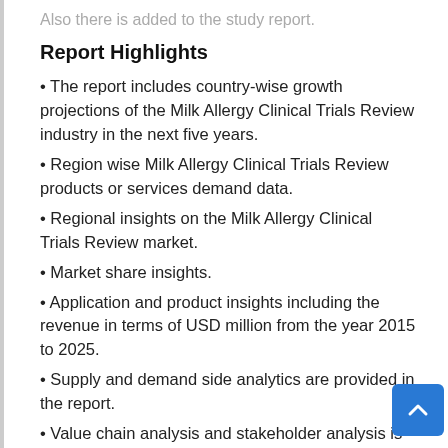Also there is added to the study report.
Report Highlights
The report includes country-wise growth projections of the Milk Allergy Clinical Trials Review industry in the next five years.
Region wise Milk Allergy Clinical Trials Review products or services demand data.
Regional insights on the Milk Allergy Clinical Trials Review market.
Market share insights.
Application and product insights including the revenue in terms of USD million from the year 2015 to 2025.
Supply and demand side analytics are provided in the report.
Value chain analysis and stakeholder analysis is provided in the study.